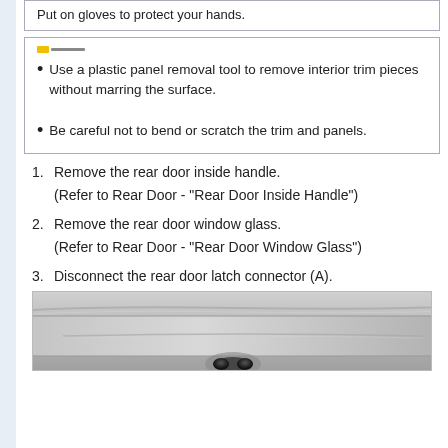Put on gloves to protect your hands.
Use a plastic panel removal tool to remove interior trim pieces without marring the surface.
Be careful not to bend or scratch the trim and panels.
1. Remove the rear door inside handle.
(Refer to Rear Door - "Rear Door Inside Handle")
2. Remove the rear door window glass.
(Refer to Rear Door - "Rear Door Window Glass")
3. Disconnect the rear door latch connector (A).
[Figure (photo): Photo of rear door latch area showing connector point A on vehicle door panel]